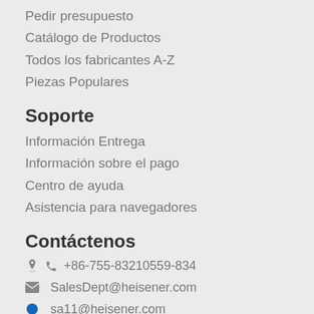Pedir presupuesto
Catálogo de Productos
Todos los fabricantes A-Z
Piezas Populares
Soporte
Información Entrega
Información sobre el pago
Centro de ayuda
Asistencia para navegadores
Contáctenos
+86-755-83210559-834
SalesDept@heisener.com
sa11@heisener.com
2850975340
Enviar Mensaje
[Figure (logo): Social media icons: Twitter, Facebook, LinkedIn, Google+]